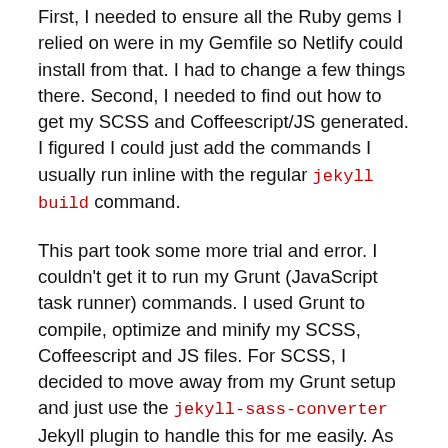First, I needed to ensure all the Ruby gems I relied on were in my Gemfile so Netlify could install from that. I had to change a few things there. Second, I needed to find out how to get my SCSS and Coffeescript/JS generated. I figured I could just add the commands I usually run inline with the regular jekyll build command.
This part took some more trial and error. I couldn't get it to run my Grunt (JavaScript task runner) commands. I used Grunt to compile, optimize and minify my SCSS, Coffeescript and JS files. For SCSS, I decided to move away from my Grunt setup and just use the jekyll-sass-converter Jekyll plugin to handle this for me easily. As for the Coffeescript, I used this as an opportunity to go back to JS files—something I had been wanting to do.
But that still left me with the task of how to